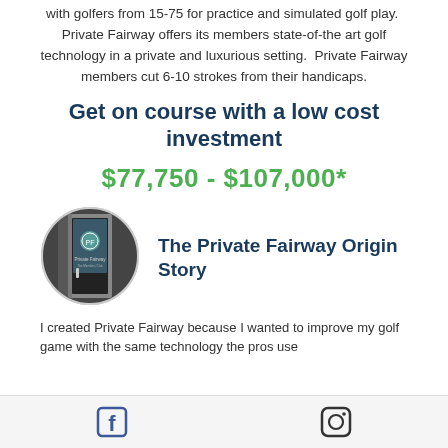with golfers from 15-75 for practice and simulated golf play.  Private Fairway offers its members state-of-the art golf technology in a private and luxurious setting.  Private Fairway members cut 6-10 strokes from their handicaps.
Get on course with a low cost investment
$77,750 - $107,000*
[Figure (photo): Circular cropped photo of Private Fairway entrance door with logo]
The Private Fairway Origin Story
I created Private Fairway because I wanted to improve my golf game with the same technology the pros use
Facebook and Instagram social media icons